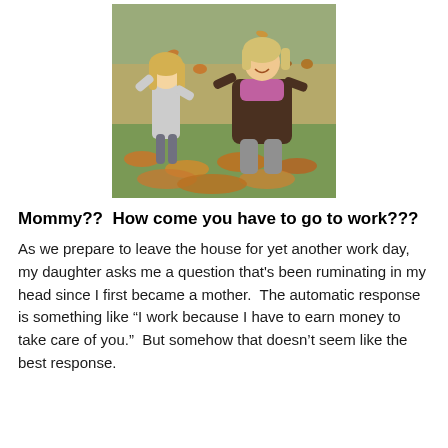[Figure (photo): A woman and a young girl playing outdoors in autumn, tossing fallen leaves in the air. The girl has long blonde hair and wears a grey coat. The woman wears a dark brown jacket and pink scarf, smiling. Background shows autumn leaves on green grass.]
Mommy??  How come you have to go to work???
As we prepare to leave the house for yet another work day, my daughter asks me a question that's been ruminating in my head since I first became a mother.  The automatic response is something like “I work because I have to earn money to take care of you.”  But somehow that doesn’t seem like the best response.